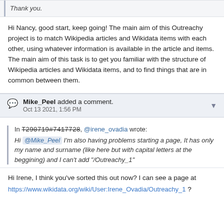Thank you.
Hi Nancy, good start, keep going! The main aim of this Outreachy project is to match Wikipedia articles and Wikidata items with each other, using whatever information is available in the article and items. The main aim of this task is to get you familiar with the structure of Wikipedia articles and Wikidata items, and to find things that are in common between them.
Mike_Peel added a comment.
Oct 13 2021, 1:56 PM
In T290719#7417728, @irene_ovadia wrote:
Hi @Mike_Peel I'm also having problems starting a page, It has only my name and surname (like here but with capital letters at the beggining) and I can't add "/Outreachy_1"
Hi Irene, I think you've sorted this out now? I can see a page at https://www.wikidata.org/wiki/User:Irene_Ovadia/Outreachy_1 ?